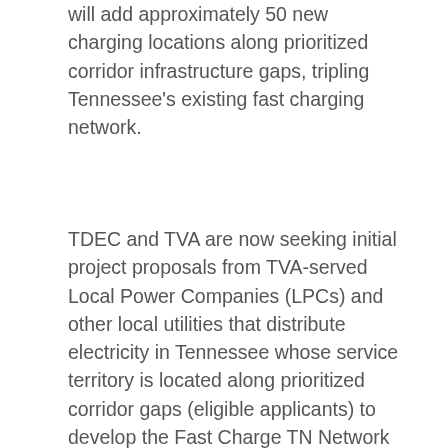will add approximately 50 new charging locations along prioritized corridor infrastructure gaps, tripling Tennessee's existing fast charging network.
TDEC and TVA are now seeking initial project proposals from TVA-served Local Power Companies (LPCs) and other local utilities that distribute electricity in Tennessee whose service territory is located along prioritized corridor gaps (eligible applicants) to develop the Fast Charge TN Network across Tennessee. Later rounds of funding may expand applicant eligibility to include local governmental entities, private companies, and/or non-profits.